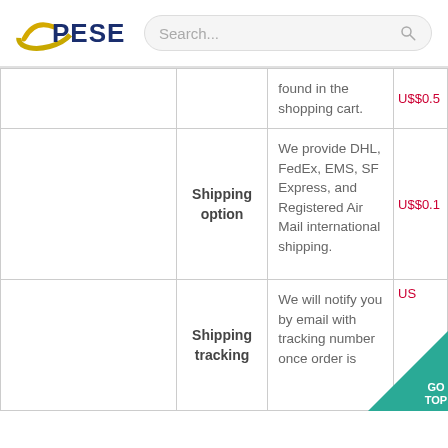PESE  Search...
|  | Feature | Description | Price |
| --- | --- | --- | --- |
|  |  | found in the shopping cart. | U$$0.5 |
|  | Shipping option | We provide DHL, FedEx, EMS, SF Express, and Registered Air Mail international shipping. | U$$0.1 |
|  | Shipping tracking | We will notify you by email with tracking number once order is | US |